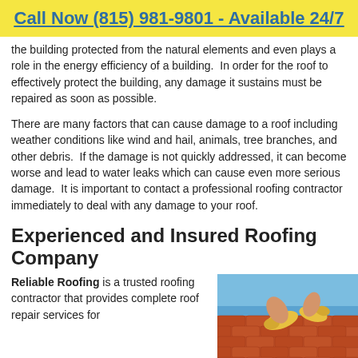Call Now (815) 981-9801 - Available 24/7
the building protected from the natural elements and even plays a role in the energy efficiency of a building.  In order for the roof to effectively protect the building, any damage it sustains must be repaired as soon as possible.
There are many factors that can cause damage to a roof including weather conditions like wind and hail, animals, tree branches, and other debris.  If the damage is not quickly addressed, it can become worse and lead to water leaks which can cause even more serious damage.  It is important to contact a professional roofing contractor immediately to deal with any damage to your roof.
Experienced and Insured Roofing Company
Reliable Roofing is a trusted roofing contractor that provides complete roof repair services for
[Figure (photo): Photo of a person in yellow gloves laying red/terracotta roof tiles under a blue sky]